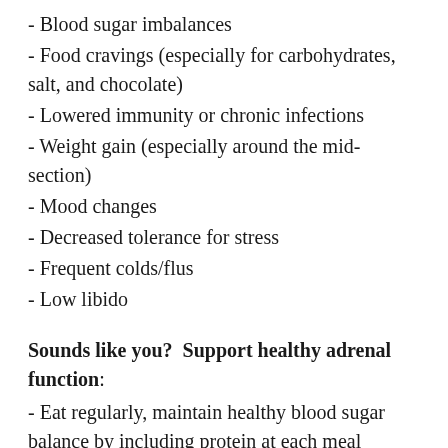- Blood sugar imbalances
- Food cravings (especially for carbohydrates, salt, and chocolate)
- Lowered immunity or chronic infections
- Weight gain (especially around the mid-section)
- Mood changes
- Decreased tolerance for stress
- Frequent colds/flus
- Low libido
Sounds like you?  Support healthy adrenal function:
- Eat regularly, maintain healthy blood sugar balance by including protein at each meal (especially breakfast!).
- Exercise gently (walking, stretching, or yoga) until your adrenals have healed and your energy has improved
- Sleep hygiene– keep your bedroom completely dark, quiet, and cool to allow your body to